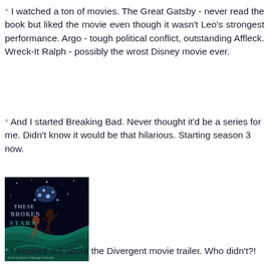* I watched a ton of movies. The Great Gatsby - never read the book but liked the movie even though it wasn't Leo's strongest performance. Argo - tough political conflict, outstanding Affleck. Wreck-It Ralph - possibly the wrost Disney movie ever.
* And I started Breaking Bad. Never thought it'd be a series for me. Didn't know it would be that hilarious. Starting season 3 now.
[Figure (photo): Book cover of 'These Broken Stars' showing two figures against a starry background with teal/green flowing fabric]
* I freaked out about the Divergent movie trailer. Who didn't?!